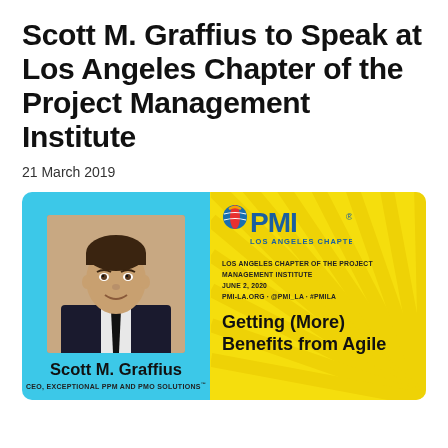Scott M. Graffius to Speak at Los Angeles Chapter of the Project Management Institute
21 March 2019
[Figure (infographic): Event card with two panels. Left panel: cyan/light-blue background with headshot photo of Scott M. Graffius wearing a dark suit, name 'Scott M. Graffius' in bold, and subtitle 'CEO, EXCEPTIONAL PPM AND PMO SOLUTIONS'. Right panel: yellow background with sunburst rays, PMI Los Angeles Chapter logo, event details 'LOS ANGELES CHAPTER OF THE PROJECT MANAGEMENT INSTITUTE / JUNE 2, 2020 / PMI-LA.ORG · @PMI_LA · #PMILA', and bold text 'Getting (More) Benefits from Agile'.]